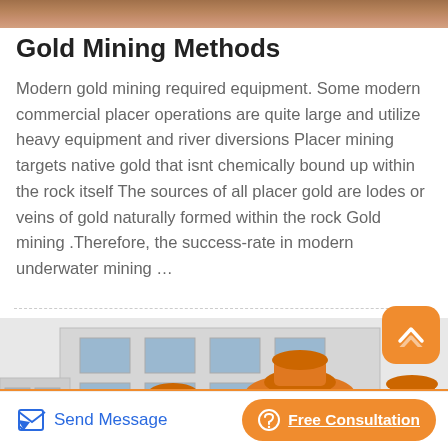[Figure (photo): Partial view of a person's face/skin at the top of the page (cropped)]
Gold Mining Methods
Modern gold mining required equipment. Some modern commercial placer operations are quite large and utilize heavy equipment and river diversions Placer mining targets native gold that isnt chemically bound up within the rock itself The sources of all placer gold are lodes or veins of gold naturally formed within the rock Gold mining .Therefore, the success-rate in modern underwater mining …
[Figure (photo): Orange industrial mining/flotation machines (jig concentrators or flotation cells) parked outside a factory building. Multiple large orange machines with funnel-shaped tops are visible.]
Send Message   Free Consultation